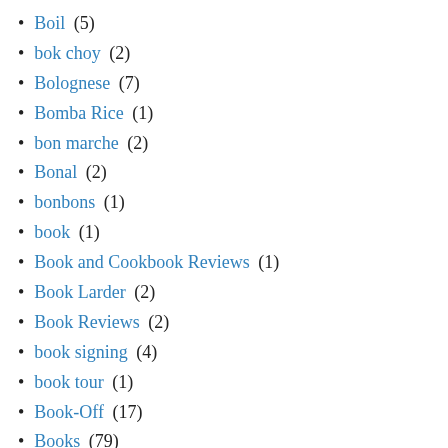Boil (5)
bok choy (2)
Bolognese (7)
Bomba Rice (1)
bon marche (2)
Bonal (2)
bonbons (1)
book (1)
Book and Cookbook Reviews (1)
Book Larder (2)
Book Reviews (2)
book signing (4)
book tour (1)
Book-Off (17)
Books (79)
Bookshop (1)